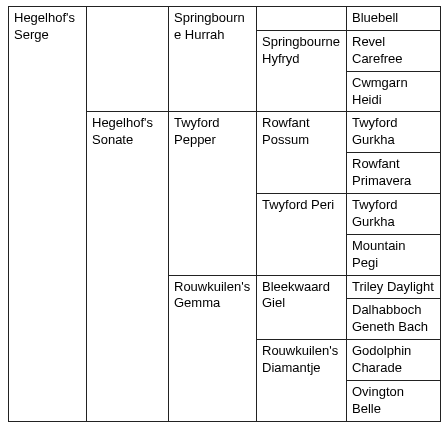| Hegelhof's Serge |  | Springbourne Hurrah |  | Bluebell |
|  |  |  | Springbourne Hyfryd | Revel Carefree |
|  |  |  |  | Cwmgarn Heidi |
|  | Hegelhof's Sonate | Twyford Pepper | Rowfant Possum | Twyford Gurkha |
|  |  |  |  | Rowfant Primavera |
|  |  |  | Twyford Peri | Twyford Gurkha |
|  |  |  |  | Mountain Pegi |
|  |  | Rouwkuilen's Gemma | Bleekwaard Giel | Triley Daylight |
|  |  |  |  | Dalhabboch Geneth Bach |
|  |  |  | Rouwkuilen's Diamantje | Godolphin Charade |
|  |  |  |  | Ovington Belle |